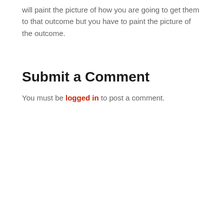will paint the picture of how you are going to get them to that outcome but you have to paint the picture of the outcome.
Submit a Comment
You must be logged in to post a comment.